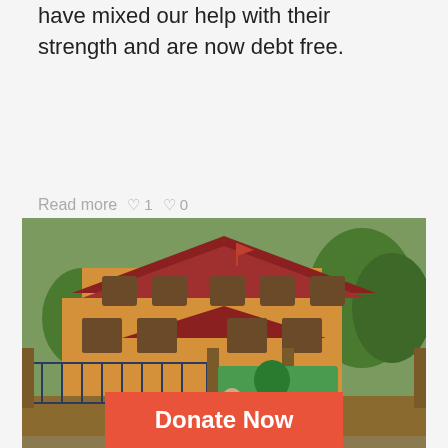have mixed our help with their strength and are now debt free.
Read more   ♡ 1   ♡ 0
[Figure (photo): Two men standing in front of a yellow two-story building with a red tile roof and ornate iron gate. A green banner with a tree logo hangs on the gate. Green trees visible in background.]
We Have Launched a New Thai National Fo…
Donate Now